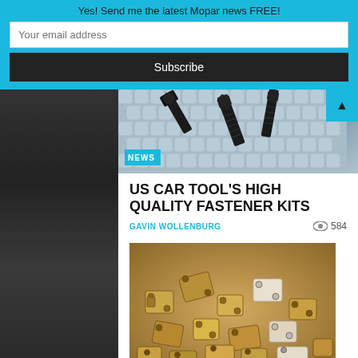Yes! Send me the latest Mopar news FREE!
Your email address
Subscribe
[Figure (photo): Close-up photo of black metal bolts/screws on a translucent plastic surface with a NEWS badge overlay]
US CAR TOOL'S HIGH QUALITY FASTENER KITS
GAVIN WOLLENBURG
584
[Figure (photo): Pile of brass/metal fastener components and brackets in various shapes]